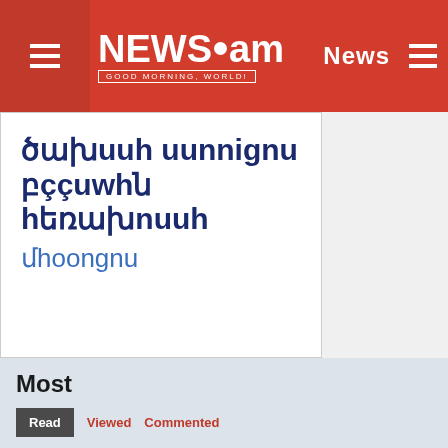NEWS.am — Good Morning, World! | News
ծախuuh uunnignu բջջային hեռախոսի մhoongnu
Most
Read | Viewed | Commented